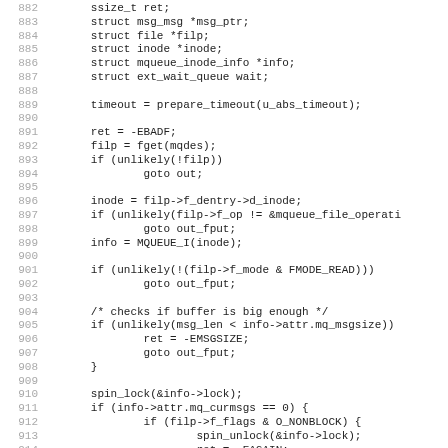[Figure (other): Source code listing in C, lines 882-914, showing struct declarations, timeout preparation, file and inode operations, and spin lock usage in what appears to be a Linux kernel message queue receive function.]